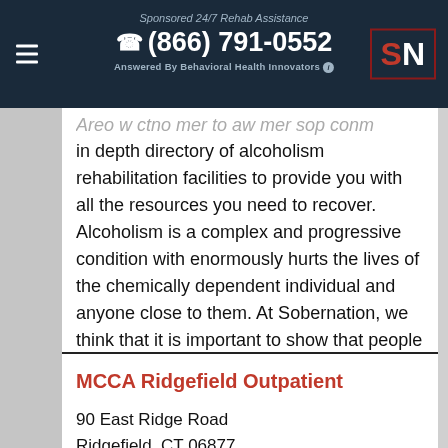Sponsored 24/7 Rehab Assistance
☎ (866) 791-0552
Answered By Behavioral Health Innovators ℹ
... in depth directory of alcoholism rehabilitation facilities to provide you with all the resources you need to recover. Alcoholism is a complex and progressive condition with enormously hurts the lives of the chemically dependent individual and anyone close to them. At Sobernation, we think that it is important to show that people do recover from chemical dependency. To receive immediate placement help from a treatment representative call the sponsored hotline at ☎ (866) 791-0552 ?.
MCCA Ridgefield Outpatient
90 East Ridge Road
Ridgefield, CT 06877